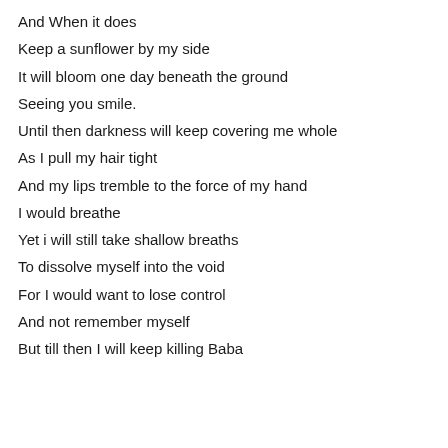And When it does
Keep a sunflower by my side
It will bloom one day beneath the ground
Seeing you smile.
Until then darkness will keep covering me whole
As I pull my hair tight
And my lips tremble to the force of my hand
I would breathe
Yet i will still take shallow breaths
To dissolve myself into the void
For I would want to lose control
And not remember myself
But till then I will keep killing Baba